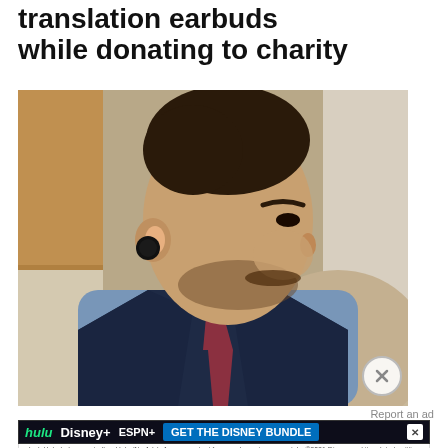translation earbuds while donating to charity
[Figure (photo): A man in a dark navy suit with a light blue shirt and patterned tie, wearing a black earbud in his left ear, photographed in profile looking downward. Background shows a light-colored sofa and window.]
Report an ad
[Figure (other): Advertisement for Disney Bundle showing Hulu, Disney+, and ESPN+ logos with 'GET THE DISNEY BUNDLE' call to action button and fine print: 'Incl. Hulu (ad-supported) or Hulu (No Ads). Access content from each service separately. ©2021 Disney and its related entities']